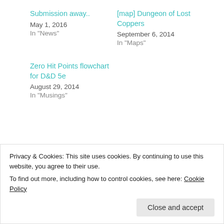Submission away..
May 1, 2016
In "News"
[map] Dungeon of Lost Coppers
September 6, 2014
In "Maps"
Zero Hit Points flowchart for D&D 5e
August 29, 2014
In "Musings"
Adventures, Maps
CONTEST  DEMONS  MAP
Privacy & Cookies: This site uses cookies. By continuing to use this website, you agree to their use.
To find out more, including how to control cookies, see here: Cookie Policy
Close and accept